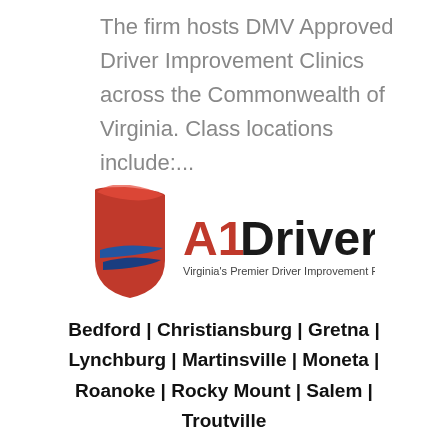The firm hosts DMV Approved Driver Improvement Clinics across the Commonwealth of Virginia. Class locations include:....
[Figure (logo): A1 Driver logo featuring a red shield with blue swoosh lines, text 'A1 Driver' in red and black, and tagline 'Virginia's Premier Driver Improvement Program']
Bedford | Christiansburg | Gretna | Lynchburg | Martinsville | Moneta | Roanoke | Rocky Mount | Salem | Troutville